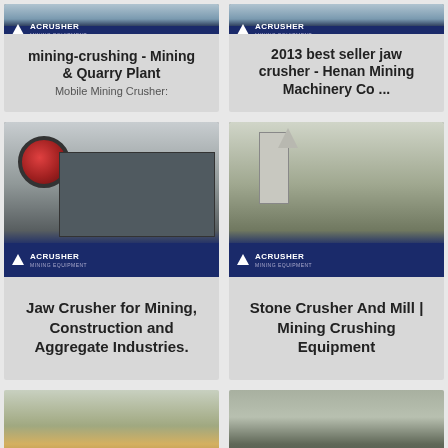[Figure (photo): Mining equipment photo with ACRUSHER branding banner at top]
mining-crushing - Mining & Quarry Plant
Mobile Mining Crusher:
[Figure (photo): Mining equipment photo with ACRUSHER branding banner at top]
2013 best seller jaw crusher - Henan Mining Machinery Co ...
[Figure (photo): Jaw crusher machine with red flywheel, ACRUSHER Mining Equipment branding]
Jaw Crusher for Mining, Construction and Aggregate Industries.
[Figure (photo): Stone crusher and dust collection tower, ACRUSHER Mining Equipment branding]
Stone Crusher And Mill | Mining Crushing Equipment
[Figure (photo): Yellow mining cone crusher machine outdoors]
[Figure (photo): Green/dark mining crushing equipment under shed]